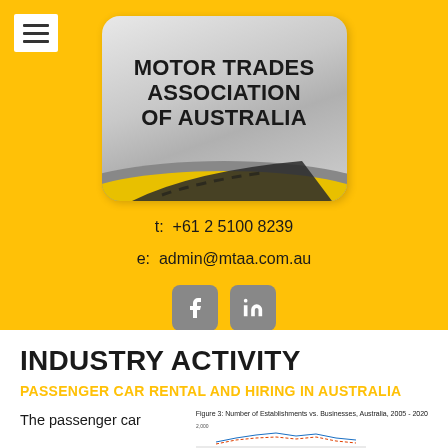[Figure (logo): Motor Trades Association of Australia logo — silver/grey badge with road stripe graphic and bold black text]
t:  +61 2 5100 8239
e:  admin@mtaa.com.au
[Figure (other): Facebook and LinkedIn social media icons]
INDUSTRY ACTIVITY
PASSENGER CAR RENTAL AND HIRING IN AUSTRALIA
The passenger car
Figure 3: Number of Establishments vs. Businesses, Australia, 2005 - 2020